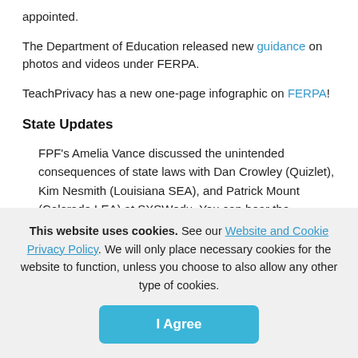appointed.
The Department of Education released new guidance on photos and videos under FERPA.
TeachPrivacy has a new one-page infographic on FERPA!
State Updates
FPF's Amelia Vance discussed the unintended consequences of state laws with Dan Crowley (Quizlet), Kim Nesmith (Louisiana SEA), and Patrick Mount (Colorado LEA) at SXSWedu. You can hear the recording of the panel
This website uses cookies. See our Website and Cookie Privacy Policy. We will only place necessary cookies for the website to function, unless you choose to also allow any other type of cookies.
I Agree